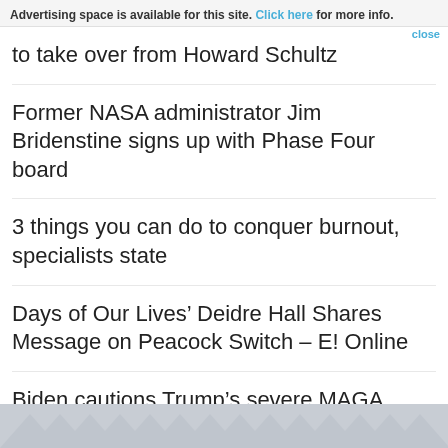Advertising space is available for this site. Click here for more info. close
to take over from Howard Schultz
Former NASA administrator Jim Bridenstine signs up with Phase Four board
3 things you can do to conquer burnout, specialists state
Days of Our Lives’ Deidre Hall Shares Message on Peacock Switch – E! Online
Biden cautions Trump’s severe MAGA Republicans are a ‘threat’ to U.S. democracy